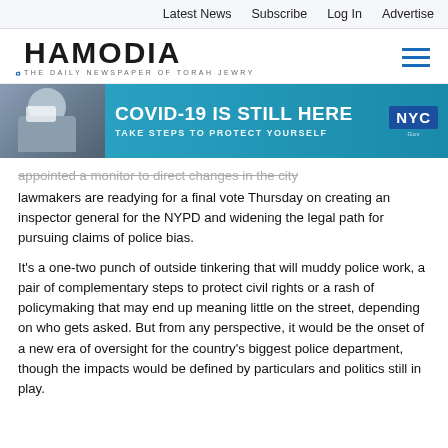Latest News  Subscribe  Log In  Advertise
[Figure (logo): Hamodia logo — THE DAILY NEWSPAPER OF TORAH JEWRY — with blue sidebar mark and hamburger menu icon]
[Figure (infographic): NYC COVID-19 banner advertisement: photo of masked person on phone, teal background, text 'COVID-19 IS STILL HERE / TAKE STEPS TO PROTECT YOURSELF', NYC logo]
appointed a monitor to direct changes in the city lawmakers are readying for a final vote Thursday on creating an inspector general for the NYPD and widening the legal path for pursuing claims of police bias.
It's a one-two punch of outside tinkering that will muddy police work, a pair of complementary steps to protect civil rights or a rash of policymaking that may end up meaning little on the street, depending on who gets asked. But from any perspective, it would be the onset of a new era of oversight for the country's biggest police department, though the impacts would be defined by particulars and politics still in play.